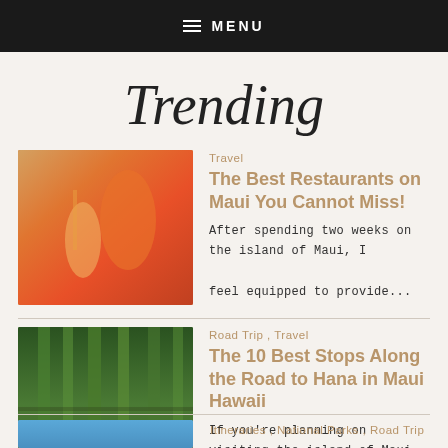MENU
Trending
Travel
The Best Restaurants on Maui You Cannot Miss!
After spending two weeks on the island of Maui, I feel equipped to provide...
Road Trip , Travel
The 10 Best Stops Along the Road to Hana in Maui Hawaii
If you're planning on visiting the island of Maui, you're likely debating o...
Itineraries , National Parks , Road Trip